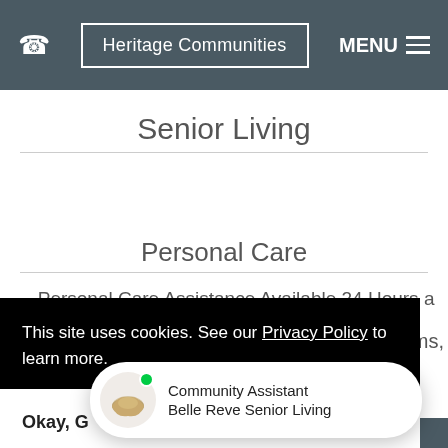Heritage Communities | MENU
Senior Living
Personal Care
Personal Care Assistance Available 24 Hours a
This site uses cookies. See our Privacy Policy to learn more.
Okay, G...
Community Assistant
Belle Reve Senior Living